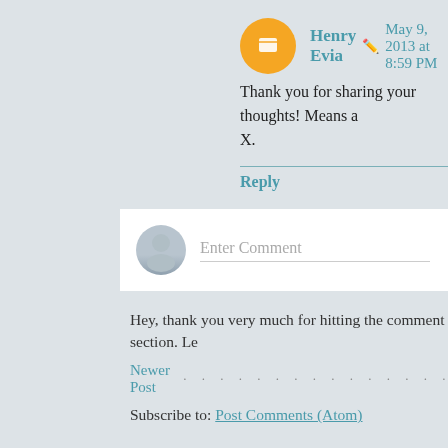Henry Evia  May 9, 2013 at 8:59 PM
Thank you for sharing your thoughts! Means a X.
Reply
[Figure (screenshot): Enter Comment input field with gray avatar]
Hey, thank you very much for hitting the comment section. Le
Newer Post · · · · · · · · · · · · · · · Hom
Subscribe to: Post Comments (Atom)